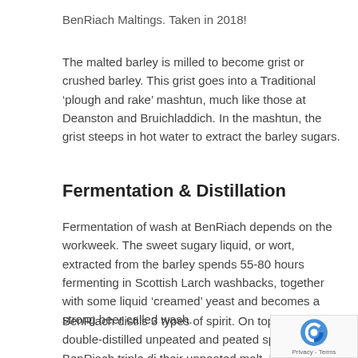BenRiach Maltings. Taken in 2018!
The malted barley is milled to become grist or crushed barley. This grist goes into a Traditional ‘plough and rake’ mashtun, much like those at Deanston and Bruichladdich. In the mashtun, the grist steeps in hot water to extract the barley sugars.
Fermentation & Distillation
Fermentation of wash at BenRiach depends on the workweek. The sweet sugary liquid, or wort, extracted from the barley spends 55-80 hours fermenting in Scottish Larch washbacks, together with some liquid ‘creamed’ yeast and becomes a strong beer called wash.
BenRiach distils 3 types of spirit. On top of the double-distilled unpeated and peated spirit, BenRiach triple di their unpeated malt. Every year, the distillery dedicate weeks to peated spirit production around the end of